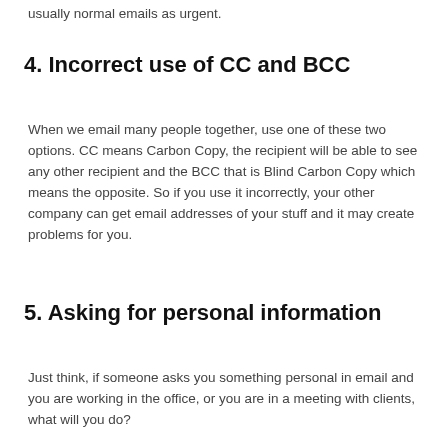usually normal emails as urgent.
4. Incorrect use of CC and BCC
When we email many people together, use one of these two options. CC means Carbon Copy, the recipient will be able to see any other recipient and the BCC that is Blind Carbon Copy which means the opposite. So if you use it incorrectly, your other company can get email addresses of your stuff and it may create problems for you.
5. Asking for personal information
Just think, if someone asks you something personal in email and you are working in the office, or you are in a meeting with clients, what will you do?